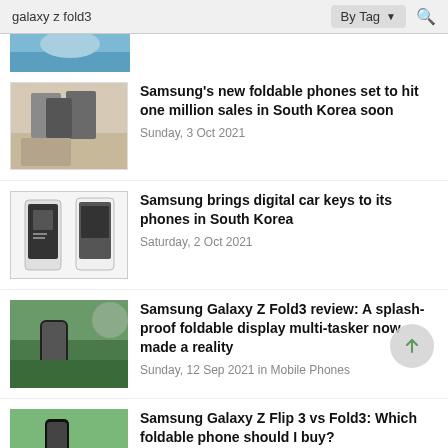galaxy z fold3 | By Tag ▼ 🔍
[Figure (photo): Partial thumbnail of article image at top, cropped]
Samsung's new foldable phones set to hit one million sales in South Korea soon — Sunday, 3 Oct 2021
Samsung brings digital car keys to its phones in South Korea — Saturday, 2 Oct 2021
Samsung Galaxy Z Fold3 review: A splash-proof foldable display multi-tasker now made a reality — Sunday, 12 Sep 2021 in Mobile Phones
Samsung Galaxy Z Flip 3 vs Fold3: Which foldable phone should I buy? — Friday, 10 Sep 2021